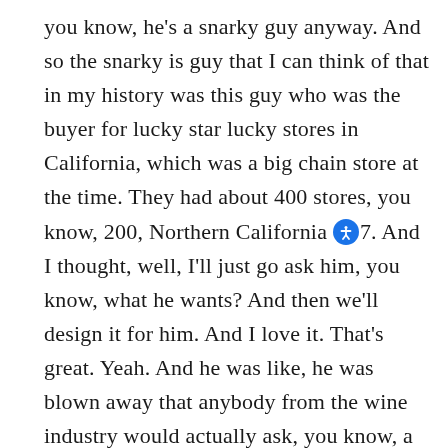you know, he's a snarky guy anyway. And so the snarky is guy that I can think of that in my history was this guy who was the buyer for lucky star lucky stores in California, which was a big chain store at the time. They had about 400 stores, you know, 200, Northern California [icon]7. And I thought, well, I'll just go ask him, you know, what he wants? And then we'll design it for him. And I love it. That's great. Yeah. And he was like, he was blown away that anybody from the wine industry would actually ask, you know, a guy in a warehouse who was a buyer, you know, what he wants? And he told me, and